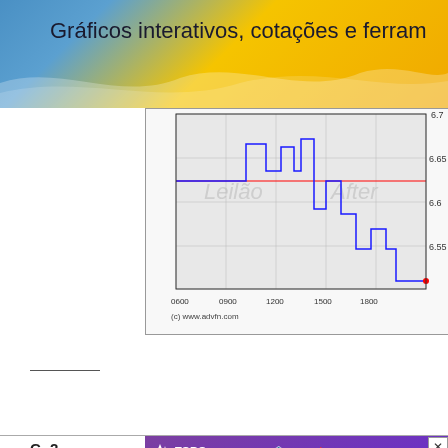Gráficos interativos, cotações e ferram
[Figure (continuous-plot): Line chart showing stock price movement throughout the day, with blue step-line price data overlaid on a red horizontal reference line. X-axis shows times from 0600 to 1800. Y-axis shows price from 6.55 to 6.7. Watermarks: 'Leilão' and 'After'. Source: (c) www.advfn.com]
[Figure (screenshot): TORO co-location DMA4 advertisement with purple background showing a man at trading screen. TORO Uma empresa Santander logo at top.]
LIFEWAY
c/o GEORGES
1290 Avenue o
C- 2